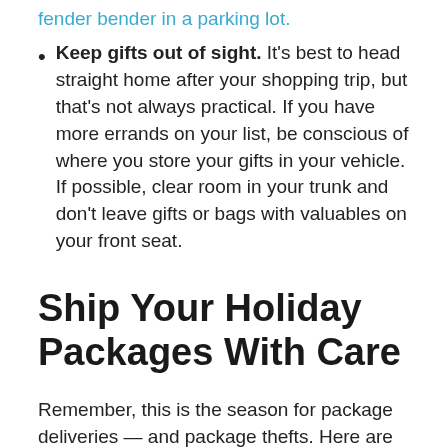fender bender in a parking lot.
Keep gifts out of sight. It's best to head straight home after your shopping trip, but that's not always practical. If you have more errands on your list, be conscious of where you store your gifts in your vehicle. If possible, clear room in your trunk and don't leave gifts or bags with valuables on your front seat.
Ship Your Holiday Packages With Care
Remember, this is the season for package deliveries — and package thefts. Here are some tips to keep